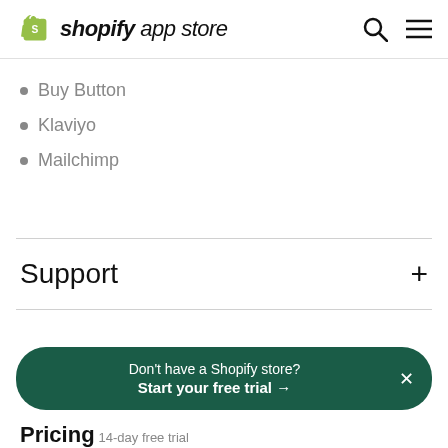shopify app store
Buy Button
Klaviyo
Mailchimp
Support
Don't have a Shopify store? Start your free trial →
Pricing